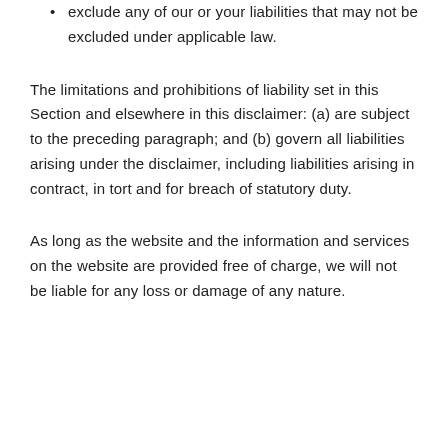exclude any of our or your liabilities that may not be excluded under applicable law.
The limitations and prohibitions of liability set in this Section and elsewhere in this disclaimer: (a) are subject to the preceding paragraph; and (b) govern all liabilities arising under the disclaimer, including liabilities arising in contract, in tort and for breach of statutory duty.
As long as the website and the information and services on the website are provided free of charge, we will not be liable for any loss or damage of any nature.